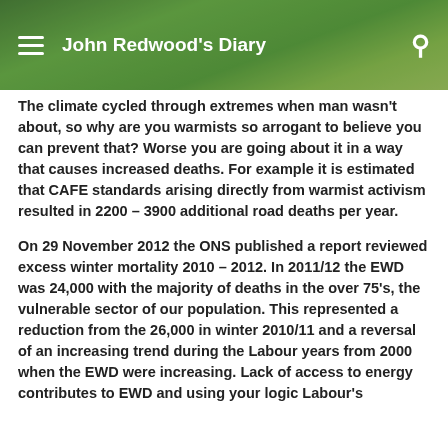John Redwood's Diary
The climate cycled through extremes when man wasn't about, so why are you warmists so arrogant to believe you can prevent that? Worse you are going about it in a way that causes increased deaths. For example it is estimated that CAFE standards arising directly from warmist activism resulted in 2200 – 3900 additional road deaths per year.
On 29 November 2012 the ONS published a report reviewed excess winter mortality 2010 – 2012. In 2011/12 the EWD was 24,000 with the majority of deaths in the over 75's, the vulnerable sector of our population. This represented a reduction from the 26,000 in winter 2010/11 and a reversal of an increasing trend during the Labour years from 2000 when the EWD were increasing. Lack of access to energy contributes to EWD and using your logic Labour's